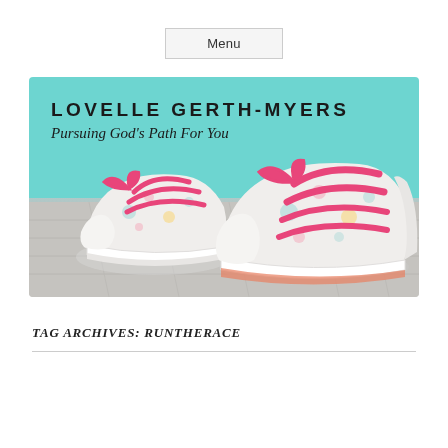Menu
[Figure (illustration): Banner image for Lovelle Gerth-Myers blog. Teal/mint background with white floral sneakers with bright pink laces on a wooden surface. Text reads 'LOVELLE GERTH-MYERS' and 'Pursuing God's Path For You']
TAG ARCHIVES: RUNTHERACE